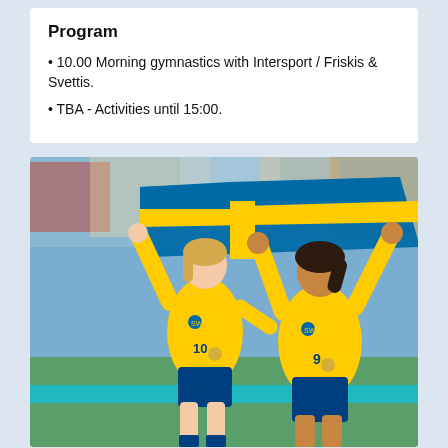Program
10.00 Morning gymnastics with Intersport / Friskis & Svettis.
TBA - Activities until 15:00.
[Figure (photo): Two female Swedish soccer players in yellow uniforms celebrating on a field, holding up a large Swedish flag (blue with yellow cross) above their heads. Both wear medals. One has number 10, the other number 9. Stadium crowd visible in background with orange advertising boards.]